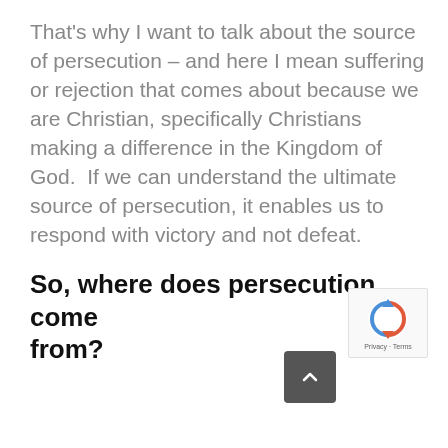That's why I want to talk about the source of persecution – and here I mean suffering or rejection that comes about because we are Christian, specifically Christians making a difference in the Kingdom of God.  If we can understand the ultimate source of persecution, it enables us to respond with victory and not defeat.
So, where does persecution come from?
[Figure (other): Dark gray scroll-to-top button with upward caret arrow, and reCAPTCHA logo box with Privacy · Terms text]